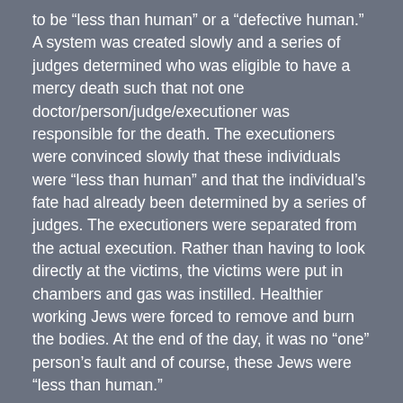to be “less than human” or a “defective human.” A system was created slowly and a series of judges determined who was eligible to have a mercy death such that not one doctor/person/judge/executioner was responsible for the death. The executioners were convinced slowly that these individuals were “less than human” and that the individual’s fate had already been determined by a series of judges. The executioners were separated from the actual execution. Rather than having to look directly at the victims, the victims were put in chambers and gas was instilled. Healthier working Jews were forced to remove and burn the bodies. At the end of the day, it was no “one” person’s fault and of course, these Jews were “less than human.”
We now come to the crux of the modern abortion issue. Are these fetuses human? Is a fetus “a person”? What is required to be a “person”? Scientifically, we know that a fertilized embryo has everything it needs to become an individual